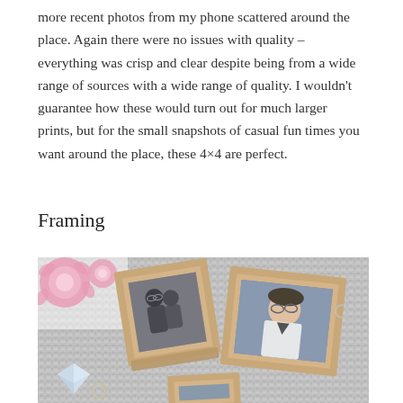more recent photos from my phone scattered around the place. Again there were no issues with quality – everything was crisp and clear despite being from a wide range of sources with a wide range of quality. I wouldn't guarantee how these would turn out for much larger prints, but for the small snapshots of casual fun times you want around the place, these 4×4 are perfect.
Framing
[Figure (photo): Two small square wooden photo frames on a grey knit textile background. Left frame contains a black and white photo of a couple. Right frame contains a color photo of a person. Pink flowers and a crystal diamond charm are visible in the corners.]